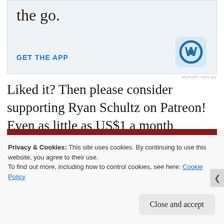[Figure (screenshot): WordPress app advertisement banner with 'the go.' text, GET THE APP link, and WordPress logo icon]
REPORT THIS AD
Liked it? Then please consider supporting Ryan Schultz on Patreon! Even as little as US$1 a month unlocks exclusive patron benefits. Thank you!
Privacy & Cookies: This site uses cookies. By continuing to use this website, you agree to their use.
To find out more, including how to control cookies, see here: Cookie Policy